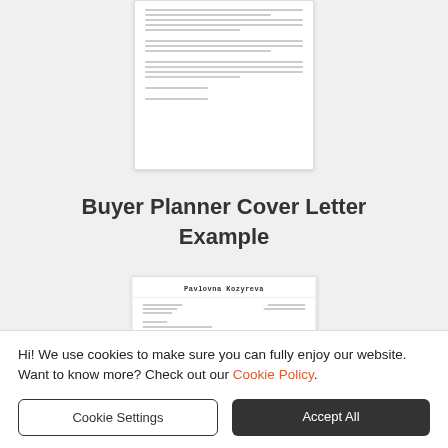[Figure (illustration): Top portion of a document/cover letter preview shown as a white card with gray placeholder lines representing text content.]
Buyer Planner Cover Letter Example
[Figure (illustration): Preview of a cover letter document for Pavlovna Kozyreva, showing letterhead with name, address details, and the beginning of the letter body with subject line for Application for the Position of Buyer Planner.]
Hi! We use cookies to make sure you can fully enjoy our website. Want to know more? Check out our Cookie Policy.
Cookie Settings
Accept All